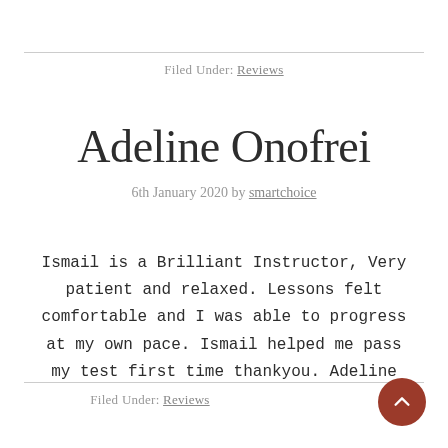Filed Under: Reviews
Adeline Onofrei
6th January 2020 by smartchoice
Ismail is a Brilliant Instructor, Very patient and relaxed. Lessons felt comfortable and I was able to progress at my own pace. Ismail helped me pass my test first time thankyou. Adeline
Filed Under: Reviews